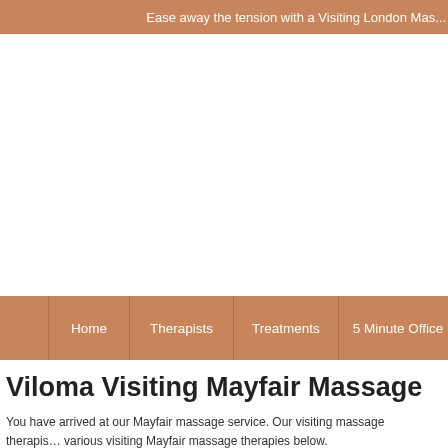Ease away the tension with a Visiting London Mas…
[Figure (other): Large white/blank image area below the header banner]
Home | Therapists | Treatments | 5 Minute Office Special
Viloma Visiting Mayfair Massage
You have arrived at our Mayfair massage service. Our visiting massage therapis… various visiting Mayfair massage therapies below.
All you need to do is call either number at the top of the page and one of our fri…